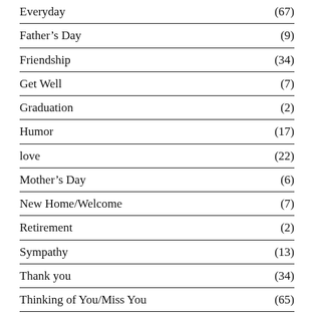Everyday (67)
Father's Day (9)
Friendship (34)
Get Well (7)
Graduation (2)
Humor (17)
love (22)
Mother's Day (6)
New Home/Welcome (7)
Retirement (2)
Sympathy (13)
Thank you (34)
Thinking of You/Miss You (65)